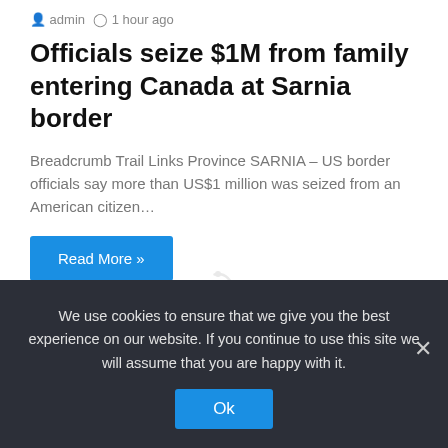admin  1 hour ago
Officials seize $1M from family entering Canada at Sarnia border
Breadcrumb Trail Links Province SARNIA – US border officials say more than US$1 million was seized from an American citizen…
Read More »
We use cookies to ensure that we give you the best experience on our website. If you continue to use this site we will assume that you are happy with it.
Ok